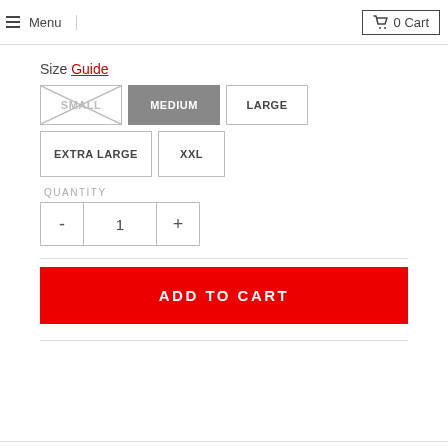Menu   0 Cart
Size Guide
SMALL (disabled) | MEDIUM (selected) | LARGE | EXTRA LARGE | XXL
QUANTITY
- 1 +
ADD TO CART